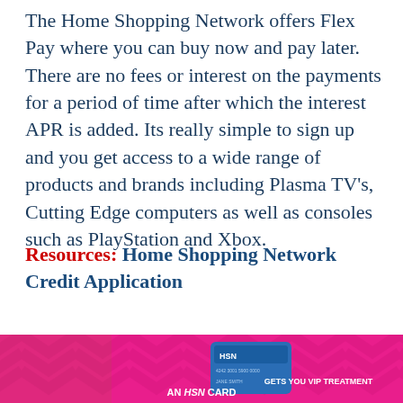The Home Shopping Network offers Flex Pay where you can buy now and pay later. There are no fees or interest on the payments for a period of time after which the interest APR is added. Its really simple to sign up and you get access to a wide range of products and brands including Plasma TV's, Cutting Edge computers as well as consoles such as PlayStation and Xbox.
Resources: Home Shopping Network Credit Application
[Figure (photo): HSN advertisement showing a woman with short blonde hair on a pink chevron background, featuring an HSN credit card and text 'AN HSN CARD GETS YOU VIP TREATMENT']